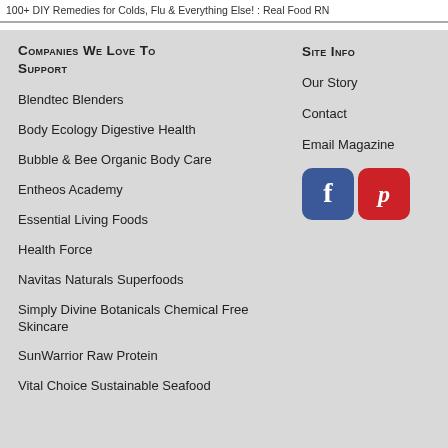100+ DIY Remedies for Colds, Flu & Everything Else! : Real Food RN
Companies We Love To Support
Blendtec Blenders
Body Ecology Digestive Health
Bubble & Bee Organic Body Care
Entheos Academy
Essential Living Foods
Health Force
Navitas Naturals Superfoods
Simply Divine Botanicals Chemical Free Skincare
SunWarrior Raw Protein
Vital Choice Sustainable Seafood
Site Info
Our Story
Contact
Email Magazine
[Figure (logo): Facebook and Pinterest social media icons]